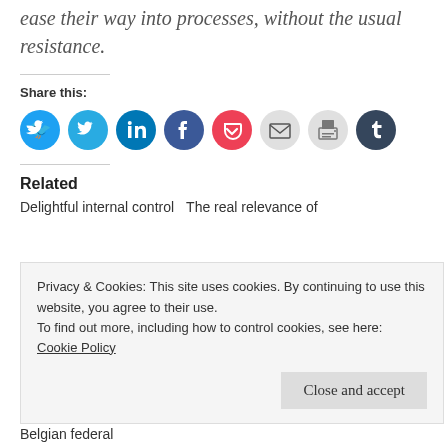ease their way into processes, without the usual resistance.
Share this:
[Figure (other): Row of circular social sharing icons: Twitter (cyan), LinkedIn (dark blue), Facebook (blue), Pocket (red), Email (light gray), Print (light gray), Tumblr (dark navy)]
Related
Delightful internal control    The real relevance of
Privacy & Cookies: This site uses cookies. By continuing to use this website, you agree to their use.
To find out more, including how to control cookies, see here:
Cookie Policy
Belgian federal